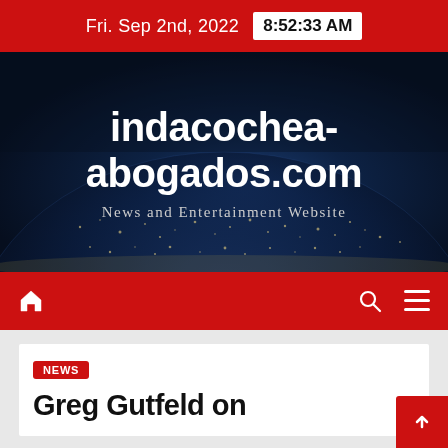Fri. Sep 2nd, 2022  8:52:33 AM
[Figure (screenshot): Website hero banner with dark space/earth background showing the site name indacochea-abogados.com and tagline News and Entertainment Website]
indacochea-abogados.com
News and Entertainment Website
[Figure (infographic): Red navigation bar with home icon, search icon, and hamburger menu icon]
NEWS
Greg Gutfeld on